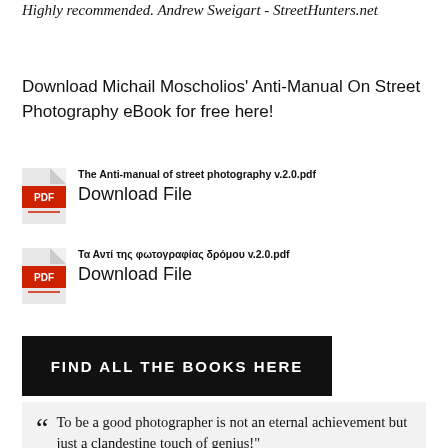Highly recommended. Andrew Sweigart - StreetHunters.net
Download Michail Moscholios' Anti-Manual On Street Photography eBook for free here!
[Figure (illustration): PDF file icon (red Adobe-style icon) with filename 'The Anti-manual of street photography v.2.0.pdf' and 'Download File' link]
[Figure (illustration): PDF file icon (red Adobe-style icon) with filename 'Τα Αντί της φωτογραφίας δρόμου v.2.0.pdf' and 'Download File' link]
FIND ALL THE BOOKS HERE
“To be a good photographer is not an eternal achievement but just a clandestine touch of genius!"